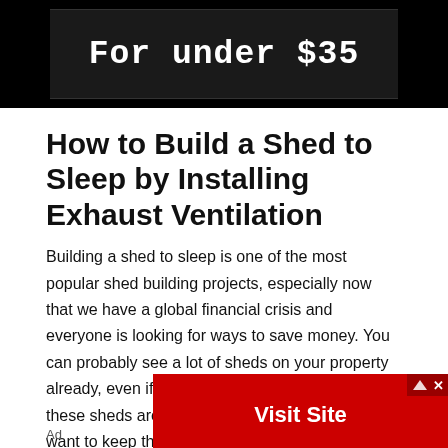[Figure (photo): Dark/black background image with text 'For under $35' in white monospace font]
How to Build a Shed to Sleep by Installing Exhaust Ventilation
Building a shed to sleep is one of the most popular shed building projects, especially now that we have a global financial crisis and everyone is looking for ways to save money. You can probably see a lot of sheds on your property already, even if you live in the country. Some of these sheds are probably years old but still people want to keep them. This article will explain how to build a shed to sleep by installing exhaust fans instead of building in
[Figure (screenshot): Red advertisement banner with 'Visit Site' button and ad controls (arrow and X icons)]
Ad